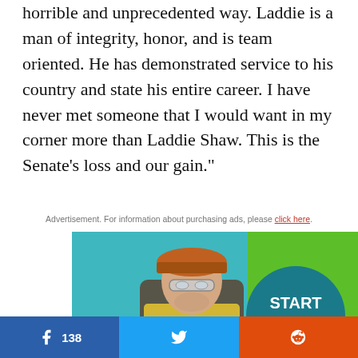horrible and unprecedented way. Laddie is a man of integrity, honor, and is team oriented. He has demonstrated service to his country and state his entire career. I have never met someone that I would want in my corner more than Laddie Shaw. This is the Senate's loss and our gain.”
Advertisement. For information about purchasing ads, please click here.
[Figure (photo): Advertisement image showing a construction worker wearing a hard hat, safety glasses, and a high-visibility vest, with a green background and a teal circle reading 'START TODAY!' and text at the bottom reading 'CONSTRUCTION:']
138 [Facebook share button] [Twitter share button] [Reddit share button]